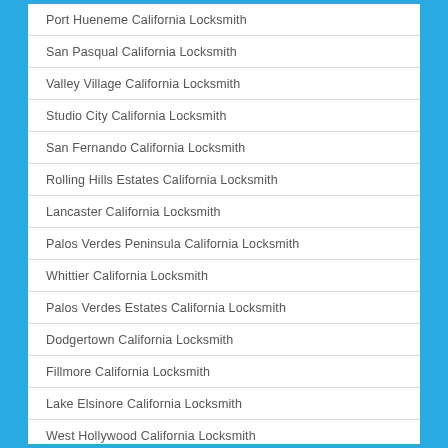Port Hueneme California Locksmith
San Pasqual California Locksmith
Valley Village California Locksmith
Studio City California Locksmith
San Fernando California Locksmith
Rolling Hills Estates California Locksmith
Lancaster California Locksmith
Palos Verdes Peninsula California Locksmith
Whittier California Locksmith
Palos Verdes Estates California Locksmith
Dodgertown California Locksmith
Fillmore California Locksmith
Lake Elsinore California Locksmith
West Hollywood California Locksmith